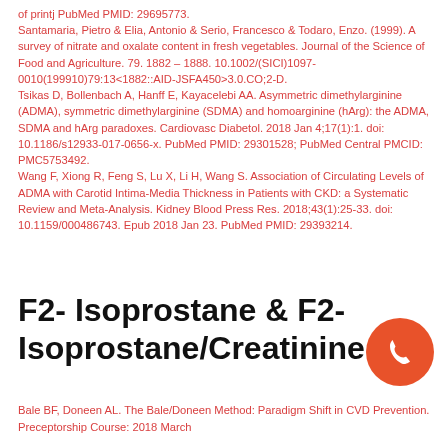of printj PubMed PMID: 29695773.
Santamaria, Pietro & Elia, Antonio & Serio, Francesco & Todaro, Enzo. (1999). A survey of nitrate and oxalate content in fresh vegetables. Journal of the Science of Food and Agriculture. 79. 1882 – 1888. 10.1002/(SICI)1097-0010(199910)79:13<1882::AID-JSFA450>3.0.CO;2-D.
Tsikas D, Bollenbach A, Hanff E, Kayacelebi AA. Asymmetric dimethylarginine (ADMA), symmetric dimethylarginine (SDMA) and homoarginine (hArg): the ADMA, SDMA and hArg paradoxes. Cardiovasc Diabetol. 2018 Jan 4;17(1):1. doi: 10.1186/s12933-017-0656-x. PubMed PMID: 29301528; PubMed Central PMCID: PMC5753492.
Wang F, Xiong R, Feng S, Lu X, Li H, Wang S. Association of Circulating Levels of ADMA with Carotid Intima-Media Thickness in Patients with CKD: a Systematic Review and Meta-Analysis. Kidney Blood Press Res. 2018;43(1):25-33. doi: 10.1159/000486743. Epub 2018 Jan 23. PubMed PMID: 29393214.
F2- Isoprostane & F2-Isoprostane/Creatinine
Bale BF, Doneen AL. The Bale/Doneen Method: Paradigm Shift in CVD Prevention. Preceptorship Course: 2018 March